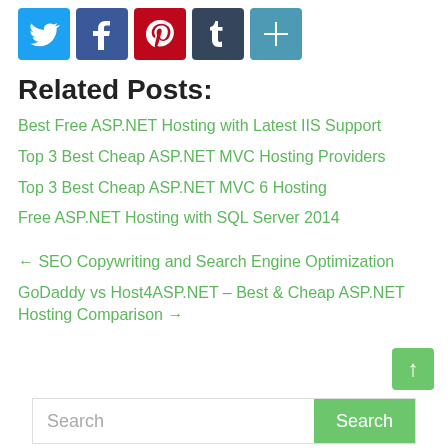[Figure (other): Social sharing icons: Twitter (blue), Facebook (blue), Pinterest (red), Tumblr (dark blue/grey), and a share/plus button (blue)]
Related Posts:
Best Free ASP.NET Hosting with Latest IIS Support
Top 3 Best Cheap ASP.NET MVC Hosting Providers
Top 3 Best Cheap ASP.NET MVC 6 Hosting
Free ASP.NET Hosting with SQL Server 2014
← SEO Copywriting and Search Engine Optimization
GoDaddy vs Host4ASP.NET – Best & Cheap ASP.NET Hosting Comparison →